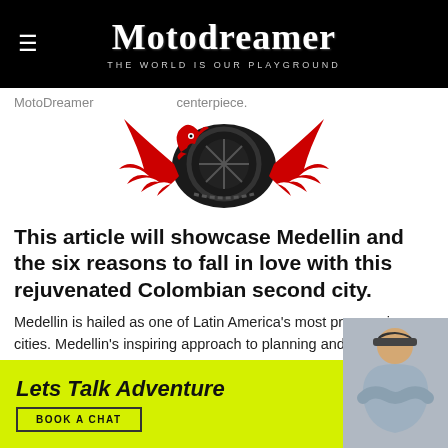Motodreamer — THE WORLD IS OUR PLAYGROUND
MotoDreamer … centerpiece.
[Figure (logo): Motodreamer logo: a red eagle/phoenix with a motorcycle wheel center and a world map, with red feathers spreading outward]
This article will showcase Medellin and the six reasons to fall in love with this rejuvenated Colombian second city.
Medellin is hailed as one of Latin America's most progressive cities. Medellin's inspiring approach to planning and urban renewal projects has transformed this city for almost 2.5 million people in recent years.
No longer is Medellin a notori…
Lets Talk Adventure
BOOK A CHAT